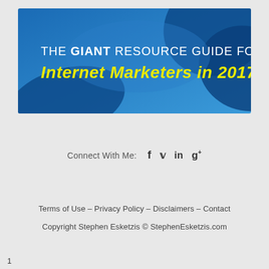[Figure (illustration): Blue banner with puzzle pieces background. Text reads: THE GIANT RESOURCE GUIDE FOR Internet Marketers in 2017]
Connect With Me: [facebook] [twitter] [linkedin] [google+]
Terms of Use – Privacy Policy – Disclaimers – Contact
Copyright Stephen Esketzis © StephenEsketzis.com
1